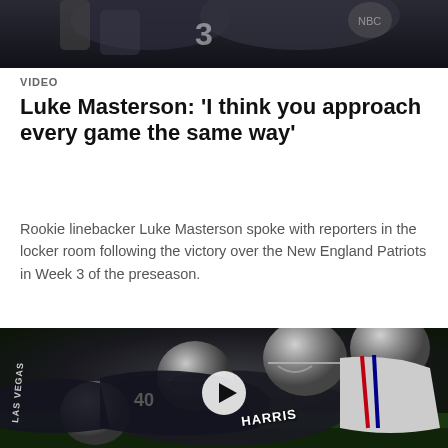[Figure (photo): Partial photo at top of page showing football game action, partially cropped]
VIDEO
Luke Masterson: 'I think you approach every game the same way'
Rookie linebacker Luke Masterson spoke with reporters in the locker room following the victory over the New England Patriots in Week 3 of the preseason.
[Figure (photo): Football game photo showing players in a tackle/pile during a Raiders vs Patriots game, with a play button overlay indicating this is a video thumbnail. A player wearing HARRIS jersey is visible.]